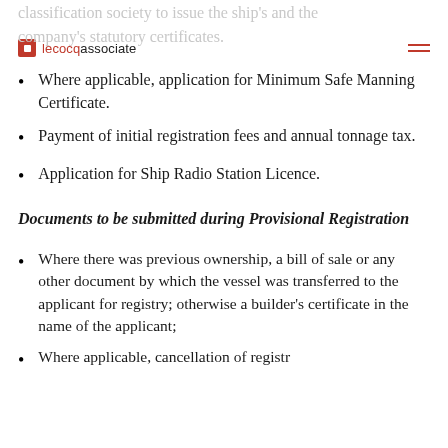classification society to issue the ship's and the company's statutory certificates.
lecocqassociate
Where applicable, application for Minimum Safe Manning Certificate.
Payment of initial registration fees and annual tonnage tax.
Application for Ship Radio Station Licence.
Documents to be submitted during Provisional Registration
Where there was previous ownership, a bill of sale or any other document by which the vessel was transferred to the applicant for registry; otherwise a builder's certificate in the name of the applicant;
Where applicable, cancellation of registration...